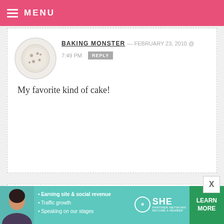MENU
BAKING MONSTER — FEBRUARY 23, 2010 @ 7:49 PM REPLY
My favorite kind of cake!
JANIE LA PIERRE — FEBRUARY 23, 2010 @ 7:26 PM REPLY
Never ma
color is r
one. How
recipe ma
Looking forward to sinking my teeth in
[Figure (infographic): SHE Partner Network advertisement banner with woman photo, bullet points about earning site revenue, traffic growth, speaking on stages, SHE logo, and Learn More button]